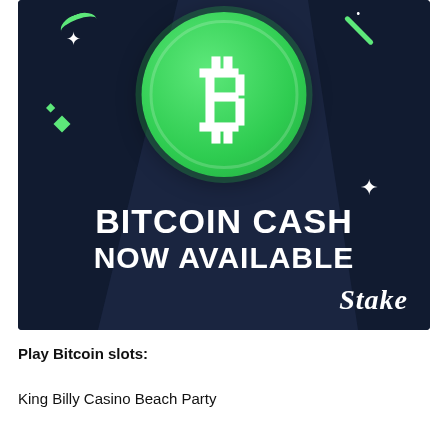[Figure (illustration): Advertisement banner for Stake showing Bitcoin Cash logo (green circle with B symbol) on dark navy background with text 'BITCOIN CASH NOW AVAILABLE' and Stake branding]
Play Bitcoin slots:
King Billy Casino Beach Party